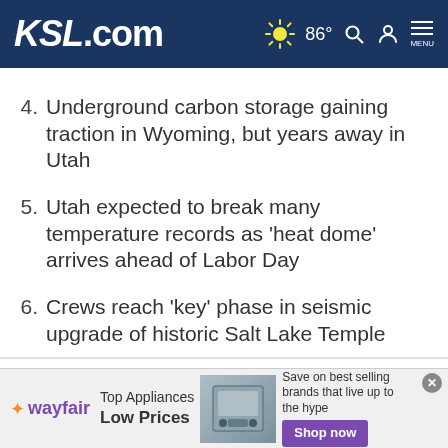KSL.com | 86° weather | Search | Account | Menu
4. Underground carbon storage gaining traction in Wyoming, but years away in Utah
5. Utah expected to break many temperature records as 'heat dome' arrives ahead of Labor Day
6. Crews reach 'key' phase in seismic upgrade of historic Salt Lake Temple
Cookie Notice
We use cookies to improve your experience, analyze site traffic, and to personalize content and ads. By continuing to use our site, you consent to our use of cookies. Please visit our Terms of Use and Privacy Policy for more information
[Figure (other): Wayfair advertisement banner: Top Appliances Low Prices, Shop now button, appliance image]